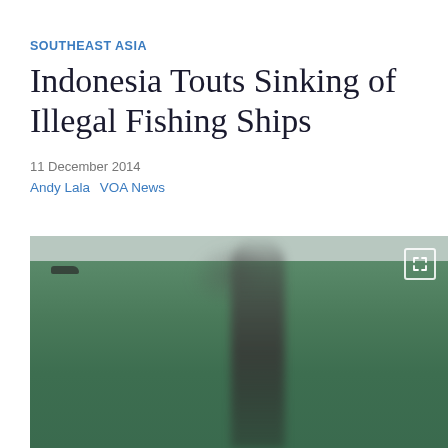SOUTHEAST ASIA
Indonesia Touts Sinking of Illegal Fishing Ships
11 December 2014
Andy Lala  VOA News
[Figure (photo): Aerial photo showing a large column of dark smoke rising from a ship being sunk, over a background of green forested landscape and water. A small vessel silhouette is visible in the upper left area.]